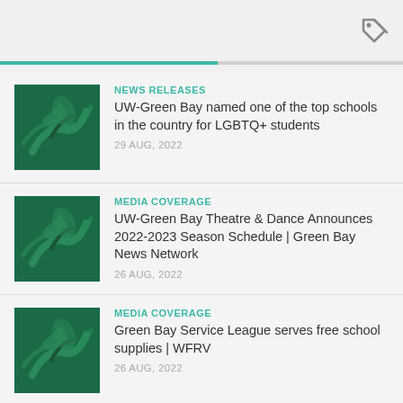[Figure (other): Tag/label icon in gray at top right]
NEWS RELEASES
UW-Green Bay named one of the top schools in the country for LGBTQ+ students
29 AUG, 2022
MEDIA COVERAGE
UW-Green Bay Theatre & Dance Announces 2022-2023 Season Schedule | Green Bay News Network
26 AUG, 2022
MEDIA COVERAGE
Green Bay Service League serves free school supplies | WFRV
26 AUG, 2022
MEDIA COVERAGE
Green Bay student says he's grateful for loan...